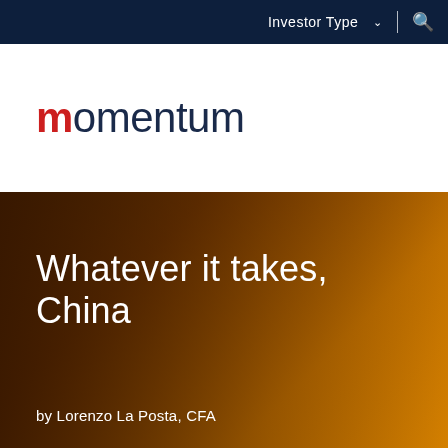Investor Type ∨ | 🔍
[Figure (logo): Momentum logo — lowercase 'momentum' with a red stylized 'm' and dark navy remaining letters]
Whatever it takes, China
by Lorenzo La Posta, CFA